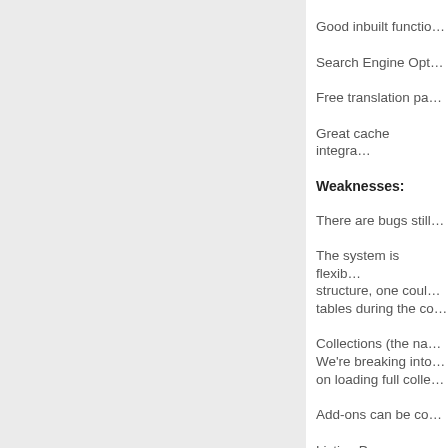Good inbuilt functio…
Search Engine Opt…
Free translation pa…
Great cache integra…
Weaknesses:
There are bugs still…
The system is flexib… structure, one coul… tables during the co…
Collections (the na… We're breaking into… on loading full colle…
Add-ons can be co…
Listing Pages, an…